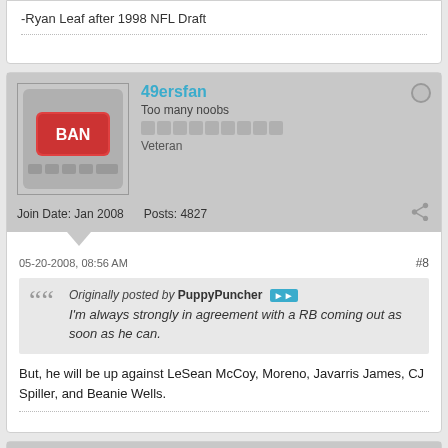-Ryan Leaf after 1998 NFL Draft
49ersfan
Too many noobs
Veteran
Join Date: Jan 2008   Posts: 4827
05-20-2008, 08:56 AM  #8
Originally posted by PuppyPuncher
I'm always strongly in agreement with a RB coming out as soon as he can.
But, he will be up against LeSean McCoy, Moreno, Javarris James, CJ Spiller, and Beanie Wells.
Joey_Potter
WF Marijuana Activist
MVP